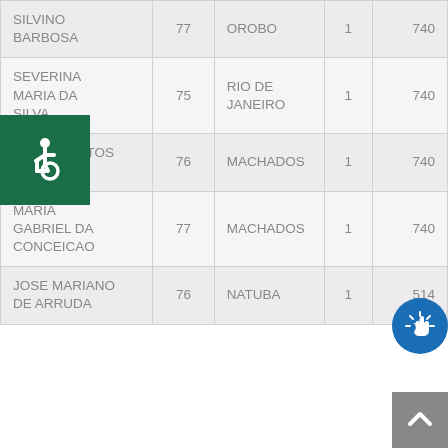| NAME | AGE | CITY | NUM | VAL |
| --- | --- | --- | --- | --- |
| SILVINO BARBOSA | 77 | OROBO | 1 | 740 |
| SEVERINA MARIA DA SILVA | 75 | RIO DE JANEIRO | 1 | 740 |
| MARIA SANTOS DA SILVA | 76 | MACHADOS | 1 | 740 |
| MARIA GABRIEL DA CONCEICAO | 77 | MACHADOS | 1 | 740 |
| JOSE MARIANO DE ARRUDA | 76 | NATUBA | 1 | 514 |